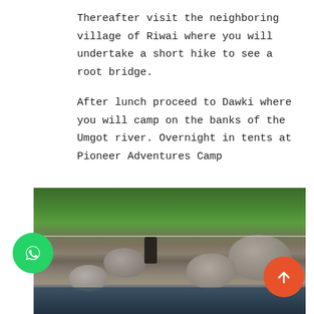Thereafter visit the neighboring village of Riwai where you will undertake a short hike to see a root bridge.
After lunch proceed to Dawki where you will camp on the banks of the Umgot river. Overnight in tents at Pioneer Adventures Camp
[Figure (photo): A person zip-lining or crossing a rope line over a rocky riverbed with large boulders, surrounded by dense green forest vegetation. The river water is visible in the foreground.]